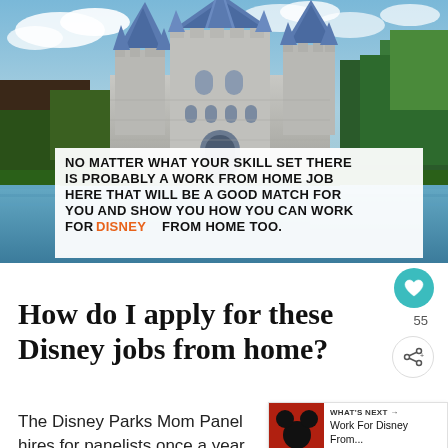[Figure (photo): Photo of Cinderella Castle at Disney park with blue spires against a partly cloudy sky, surrounded by trees and a moat. Overlaid white text box reads: NO MATTER WHAT YOUR SKILL SET THERE IS PROBABLY A WORK FROM HOME JOB HERE THAT WILL BE A GOOD MATCH FOR YOU AND SHOW YOU HOW YOU CAN WORK FOR DISNEY FROM HOME TOO.]
How do I apply for these Disney jobs from home?
The Disney Parks Mom Panel hires for panelists once a year and that window is